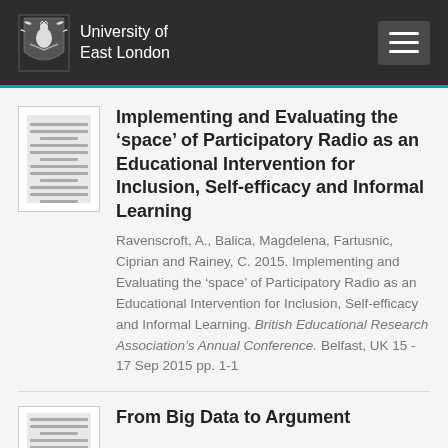University of East London
[Figure (illustration): Thumbnail image of a document page]
Implementing and Evaluating the 'space' of Participatory Radio as an Educational Intervention for Inclusion, Self-efficacy and Informal Learning
Ravenscroft, A., Balica, Magdelena, Fartusnic, Ciprian and Rainey, C. 2015. Implementing and Evaluating the ‘space’ of Participatory Radio as an Educational Intervention for Inclusion, Self-efficacy and Informal Learning. British Educational Research Association’s Annual Conference. Belfast, UK 15 - 17 Sep 2015 pp. 1-1
[Figure (illustration): Thumbnail image of a second document page]
From Big Data to Argument